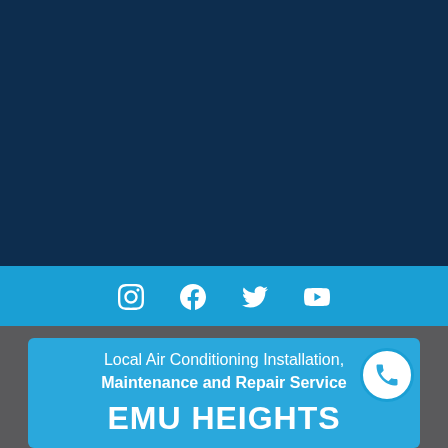[Figure (illustration): Dark navy blue background section occupying the top portion of the page, representing a website header image area]
[Figure (infographic): Light blue social media bar with Instagram, Facebook, Twitter, and YouTube icons in white]
Local Air Conditioning Installation, Maintenance and Repair Service
EMU HEIGHTS